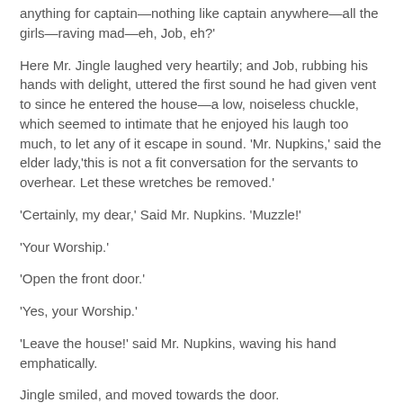anything for captain—nothing like captain anywhere—all the girls—raving mad—eh, Job, eh?'
Here Mr. Jingle laughed very heartily; and Job, rubbing his hands with delight, uttered the first sound he had given vent to since he entered the house—a low, noiseless chuckle, which seemed to intimate that he enjoyed his laugh too much, to let any of it escape in sound. 'Mr. Nupkins,' said the elder lady,'this is not a fit conversation for the servants to overhear. Let these wretches be removed.'
'Certainly, my dear,' Said Mr. Nupkins. 'Muzzle!'
'Your Worship.'
'Open the front door.'
'Yes, your Worship.'
'Leave the house!' said Mr. Nupkins, waving his hand emphatically.
Jingle smiled, and moved towards the door.